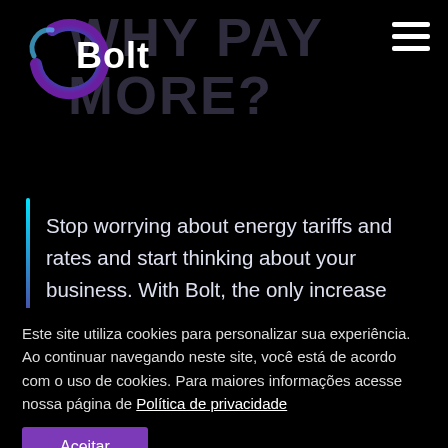[Figure (logo): Bolt energy company logo — stylized blue-purple circular swoosh with 'Bolt' text in white]
WHY PAY MORE?
Stop worrying about energy tariffs and rates and start thinking about your business. With Bolt, the only increase you'll notice is
Este site utiliza cookies para personalizar sua experiência. Ao continuar navegando neste site, você está de acordo com o uso de cookies. Para maiores informações acesse nossa página de Política de privacidade
Aceitar